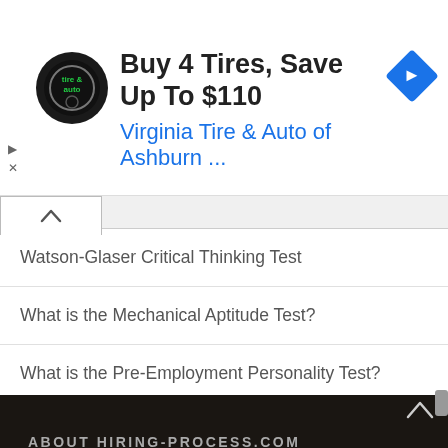[Figure (other): Advertisement banner: circular logo for Virginia Tire & Auto, text 'Buy 4 Tires, Save Up To $110' and 'Virginia Tire & Auto of Ashburn ...' in blue, blue diamond arrow icon on right]
Watson-Glaser Critical Thinking Test
What is the Mechanical Aptitude Test?
What is the Pre-Employment Personality Test?
ABOUT HIRING-PROCESS.COM
Hiring-Process.com was created to help job seekers learn about the hiring process and get on the path to their dream